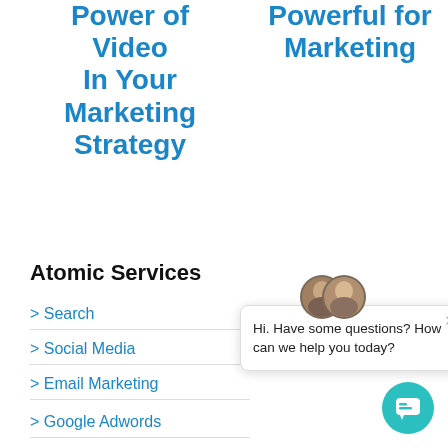Power of Video In Your Marketing Strategy
Powerful for Marketing
Atomic Services
> Search
> Social Media
> Email Marketing
> Google Adwords
[Figure (illustration): Chat popup with two person avatars and message: Hi. Have some questions? How can we help you today? with a close button and teal chat bubble button.]